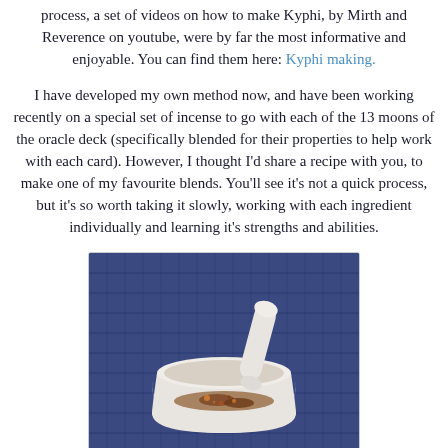process, a set of videos on how to make Kyphi, by Mirth and Reverence on youtube, were by far the most informative and enjoyable. You can find them here: Kyphi making.
I have developed my own method now, and have been working recently on a special set of incense to go with each of the 13 moons of the oracle deck (specifically blended for their properties to help work with each card). However, I thought I'd share a recipe with you, to make one of my favourite blends. You'll see it's not a quick process, but it's so worth taking it slowly, working with each ingredient individually and learning it's strengths and abilities.
[Figure (photo): A white ceramic mortar and pestle containing mixed spices/herbs, placed on a blue woven textile background.]